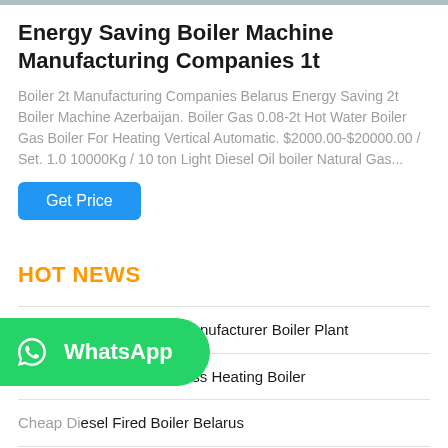Energy Saving Boiler Machine Manufacturing Companies 1t
Boiler 2t Manufacturing Companies Belarus Energy Saving 2t Boiler Machine Azerbaijan. Boiler Gas 0.08-2t Hot Water Boiler Gas Boiler For Heating Vertical Automatic. $2000.00-$20000.00 / Set. 1.0 10000Kg / 10 ton Light Diesel Oil boiler Natural Gas...
HOT NEWS
10 Ton Commercial Top manufacturer Boiler Plant
Yaii DZh Hot Water Biomass Heating Boiler
Cheap Diesel Fired Boiler Belarus
High Efficiency 10t Biomass Boiler Top manufacturer Estonia
[Figure (logo): WhatsApp green button overlay with phone icon and WhatsApp text]